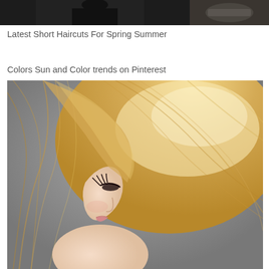[Figure (photo): Top strip showing partial images: left portion shows a dark-clad figure (woman), right portion shows a close-up of a decorated hand/wrist]
Latest Short Haircuts For Spring Summer
Colors Sun and Color trends on Pinterest
[Figure (photo): Side profile of a blonde woman with a sleek, medium-length bob hairstyle, wearing dramatic eye makeup, looking downward, against a gray background]